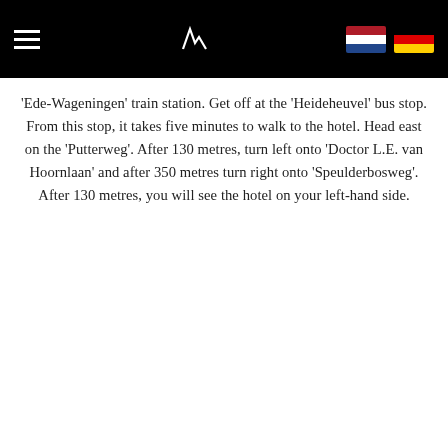Navigation bar with hamburger menu and language flags (Dutch, German)
'Ede-Wageningen' train station. Get off at the 'Heideheuvel' bus stop. From this stop, it takes five minutes to walk to the hotel. Head east on the 'Putterweg'. After 130 metres, turn left onto 'Doctor L.E. van Hoornlaan' and after 350 metres turn right onto 'Speulderbosweg'. After 130 metres, you will see the hotel on your left-hand side.
Plan your route
This website uses cookies
In order to offer you the most effective service possible, our site makes use of cookies and similar technologies. These enable us and third parties to track your browsing behavior on our website for analysis and social media purposes and to display advertisements based on your interest.
OK
Necessary  Preferences  Statistics  Marketing  Show details